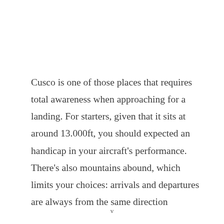Cusco is one of those places that requires total awareness when approaching for a landing. For starters, given that it sits at around 13.000ft, you should expected an handicap in your aircraft's performance. There's also mountains abound, which limits your choices: arrivals and departures are always from the same direction
v